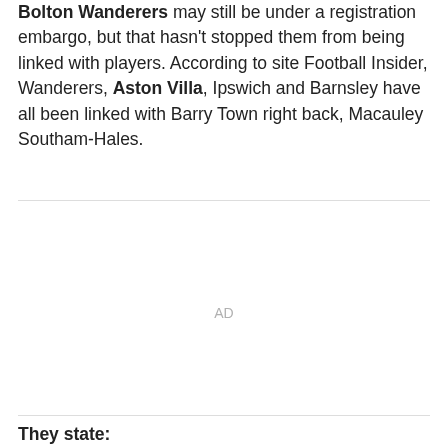Bolton Wanderers may still be under a registration embargo, but that hasn't stopped them from being linked with players. According to site Football Insider, Wanderers, Aston Villa, Ipswich and Barnsley have all been linked with Barry Town right back, Macauley Southam-Hales.
AD
They state: